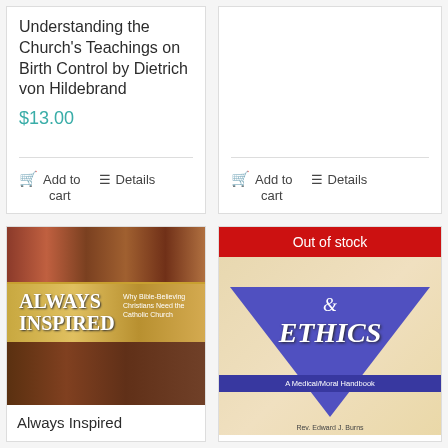Understanding the Church's Teachings on Birth Control by Dietrich von Hildebrand
$13.00
Add to cart
Details
Add to cart
Details
[Figure (illustration): Book cover for 'Always Inspired: Why Bible-Believing Christians Need the Catholic Church' showing Byzantine/medieval religious artwork arranged in a grid pattern]
Always Inspired
[Figure (illustration): Book cover for 'Catholicism and Ethics: A Medical/Moral Handbook' with 'Out of stock' red banner overlay. Cover shows purple triangle design on beige/cream background with '& ETHICS' text and subtitle 'A Medical/Moral Handbook']
Out of stock
Catholicism and